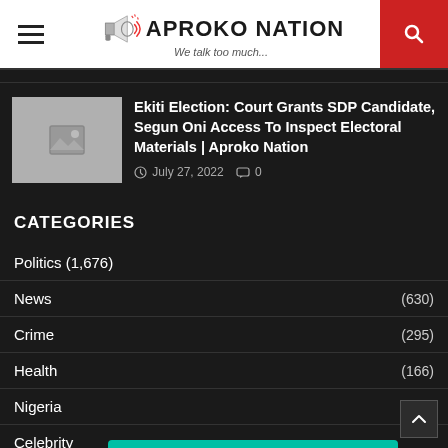APROKO NATION — We talk too much...
Ekiti Election: Court Grants SDP Candidate, Segun Oni Access To Inspect Electoral Materials | Aproko Nation
July 27, 2022   0
CATEGORIES
Politics (1,676)
News (630)
Crime (295)
Health (166)
Nigeria
Celebrity
Join our whatsapp group